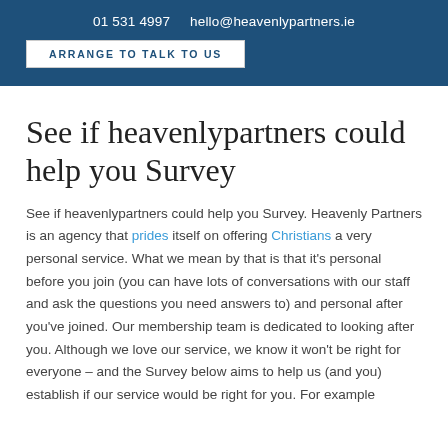01 531 4997   hello@heavenlypartners.ie
ARRANGE TO TALK TO US
See if heavenlypartners could help you Survey
See if heavenlypartners could help you Survey. Heavenly Partners is an agency that prides itself on offering Christians a very personal service. What we mean by that is that it's personal before you join (you can have lots of conversations with our staff and ask the questions you need answers to) and personal after you've joined. Our membership team is dedicated to looking after you. Although we love our service, we know it won't be right for everyone – and the Survey below aims to help us (and you) establish if our service would be right for you. For example